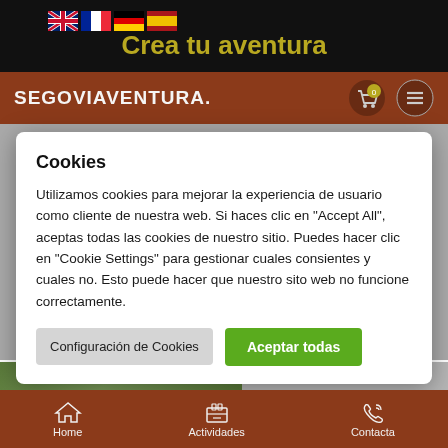[Figure (screenshot): Top black bar with flag icons (UK, France, Germany, Spain) and title text 'Crea tu aventura' in olive/yellow color]
[Figure (screenshot): Brown navigation bar with SEGOVIAVENTURA. logo on left, cart icon with 0 badge and hamburger menu on right]
Cookies

Utilizamos cookies para mejorar la experiencia de usuario como cliente de nuestra web. Si haces clic en "Accept All", aceptas todas las cookies de nuestro sitio. Puedes hacer clic en "Cookie Settings" para gestionar cuales consientes y cuales no. Esto puede hacer que nuestro sito web no funcione correctamente.
[Figure (screenshot): Buttons: 'Configuración de Cookies' (grey) and 'Aceptar todas' (green)]
[Figure (screenshot): Image card showing outdoor activity photo with AGOTADO badge]
[Figure (screenshot): Bottom navigation bar with Home, Actividades, and Contacta icons]